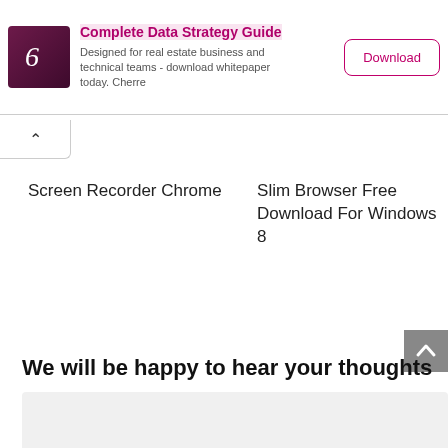[Figure (other): Advertisement banner for 'Complete Data Strategy Guide' by Cherre with purple logo, text, and Download button]
[Figure (other): Collapse/up arrow button tab below the ad banner]
Screen Recorder Chrome
Slim Browser Free Download For Windows 8
[Figure (other): Scroll-to-top arrow button on right side, gray background]
We will be happy to hear your thoughts
[Figure (other): Light gray empty comment/form box at bottom]